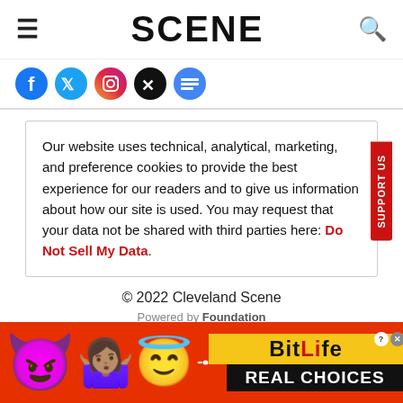SCENE
[Figure (screenshot): Social media icons: Facebook, Twitter, Instagram, X (Twitter), Google News]
Our website uses technical, analytical, marketing, and preference cookies to provide the best experience for our readers and to give us information about how our site is used. You may request that your data not be shared with third parties here: Do Not Sell My Data.
© 2022 Cleveland Scene
Powered by Foundation
[Figure (photo): Advertisement banner with red background showing emojis (devil, person shrugging, angel) and BitLife logo with 'REAL CHOICES' text]